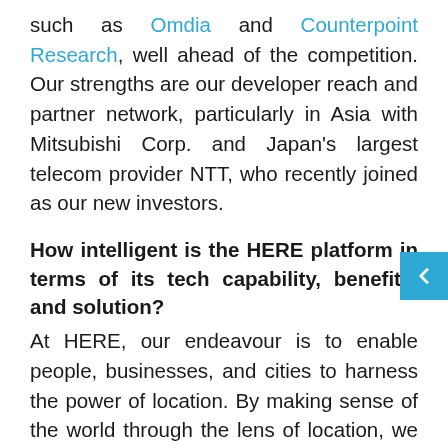such as Omdia and Counterpoint Research, well ahead of the competition. Our strengths are our developer reach and partner network, particularly in Asia with Mitsubishi Corp. and Japan's largest telecom provider NTT, who recently joined as our new investors.
How intelligent is the HERE platform in terms of its tech capability, benefits, and solution?
At HERE, our endeavour is to enable people, businesses, and cities to harness the power of location. By making sense of the world through the lens of location, we empower our customers to achieve better outcomes – from helping a city manage its infrastructure or a business optimize its assets, to guiding drivers to their destination